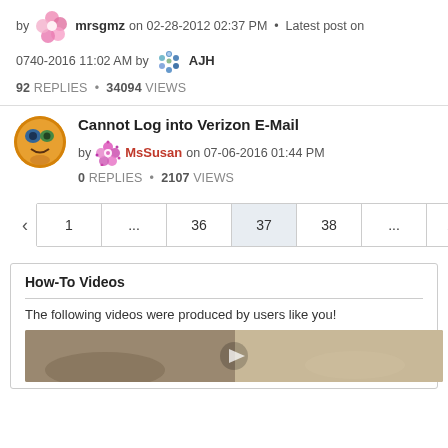by mrsgmz on 02-28-2012 02:37 PM • Latest post on 0740-2016 11:02 AM by AJH
92 REPLIES • 34094 VIEWS
Cannot Log into Verizon E-Mail
by MsSusan on 07-06-2016 01:44 PM
0 REPLIES • 2107 VIEWS
Pagination: < 1 ... 36 37 38 ... 206 >
How-To Videos
The following videos were produced by users like you!
[Figure (photo): Video thumbnail showing a blurred background scene]